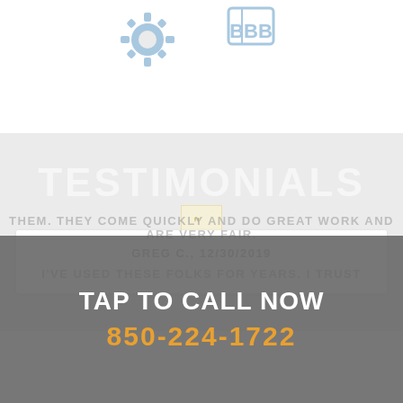[Figure (logo): Gear icon (light blue) at top left]
[Figure (logo): BBB logo (light blue) with text 'BBB' at top right]
TESTIMONIALS
GREG C., 12/30/2019
I'VE USED THESE FOLKS FOR YEARS. I TRUST THEM. THEY COME QUICKLY AND DO GREAT WORK AND ARE VERY FAIR.
TAP TO CALL NOW
850-224-1722
X